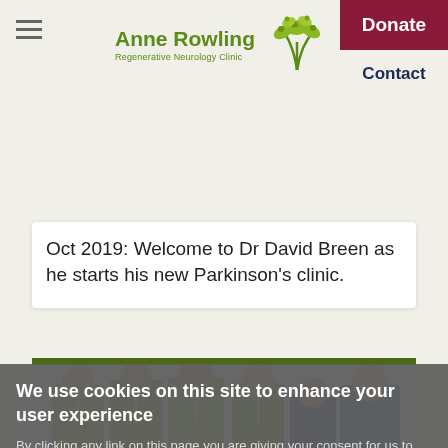Anne Rowling Regenerative Neurology Clinic
Oct 2019: Welcome to Dr David Breen as he starts his new Parkinson's clinic.
[Figure (photo): Group photo of medical staff in green t-shirts with lanyards, plus two others in blue and dark clothing, in a clinical setting.]
We use cookies on this site to enhance your user experience
By clicking any link on this page you are giving your consent for us to set cookies. No, give me more info
OK, I agree